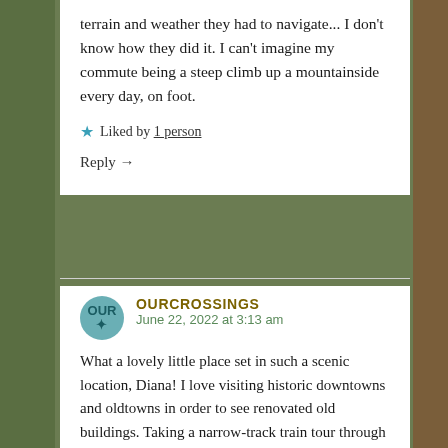terrain and weather they had to navigate... I don't know how they did it. I can't imagine my commute being a steep climb up a mountainside every day, on foot.
★ Liked by 1 person
Reply →
OURCROSSINGS
June 22, 2022 at 3:13 am
What a lovely little place set in such a scenic location, Diana! I love visiting historic downtowns and oldtowns in order to see renovated old buildings. Taking a narrow-track train tour through the mountains sounds like a fun thing to